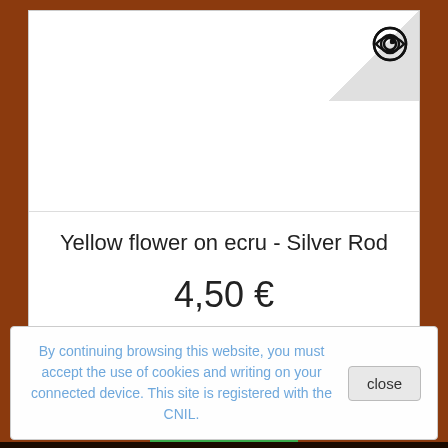[Figure (other): Product image area with eye/view icon in top-right corner on gray triangle background]
Yellow flower on ecru - Silver Rod
4,50 €
Add to cart
More
34 In Stock
By continuing browsing this website, you must accept the use of cookies and writing on your connected device. This site is registered with the CNIL.
close